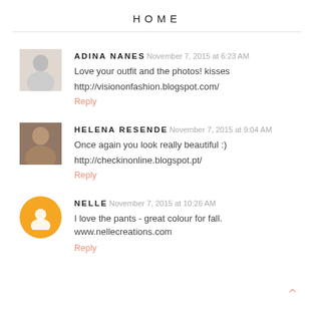HOME
ADINA NANES November 7, 2015 at 6:23 AM
Love your outfit and the photos! kisses

http://visiononfashion.blogspot.com/
Reply
HELENA RESENDE November 7, 2015 at 9:04 AM
Once again you look really beautiful :)

http://checkinonline.blogspot.pt/
Reply
NELLE November 7, 2015 at 10:26 AM
I love the pants - great colour for fall.
www.nellecreations.com
Reply